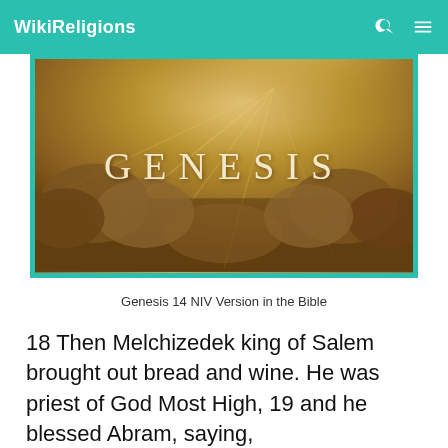WikiReligions
[Figure (illustration): A golden-brown wooden textured background with dramatic light rays and clouds, with the word GENESIS written in large serif letters in the center.]
Genesis 14 NIV Version in the Bible
18 Then Melchizedek king of Salem brought out bread and wine. He was priest of God Most High, 19 and he blessed Abram, saying,